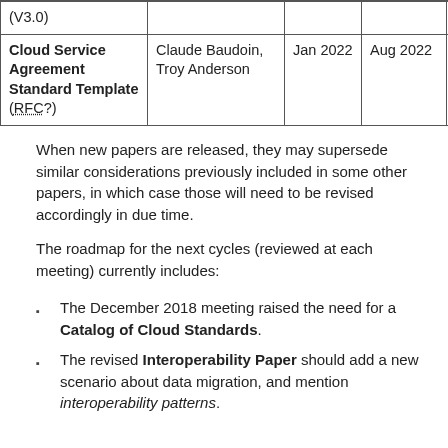|  |  |  |  |  |
| --- | --- | --- | --- | --- |
| (V3.0) |  |  |  |  |
| Cloud Service Agreement Standard Template (RFC?) | Claude Baudoin, Troy Anderson | Jan 2022 | Aug 2022 | Dec 2022 |
When new papers are released, they may supersede similar considerations previously included in some other papers, in which case those will need to be revised accordingly in due time.
The roadmap for the next cycles (reviewed at each meeting) currently includes:
The December 2018 meeting raised the need for a Catalog of Cloud Standards.
The revised Interoperability Paper should add a new scenario about data migration, and mention interoperability patterns.